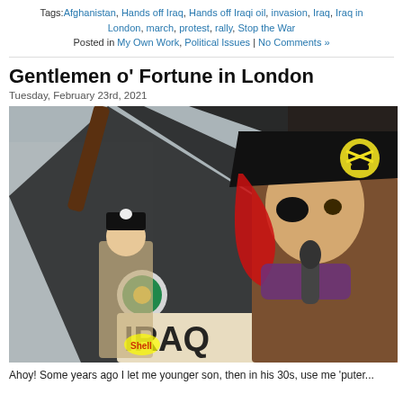Tags: Afghanistan, Hands off Iraq, Hands off Iraqi oil, invasion, Iraq, Iraq in London, march, protest, rally, Stop the War
Posted in My Own Work, Political Issues | No Comments »
Gentlemen o' Fortune in London
Tuesday, February 23rd, 2021
[Figure (photo): Two people dressed as pirates at a protest. The man on the right wears a black pirate hat with skull and crossbones, a red headscarf, and an eye patch, and holds a microphone. A woman in the background also wears pirate attire and holds a banner reading IRAQ. There is a BP logo visible in the background.]
Ahoy! Some years ago I let me younger son, then in his 30s, use me 'puter...